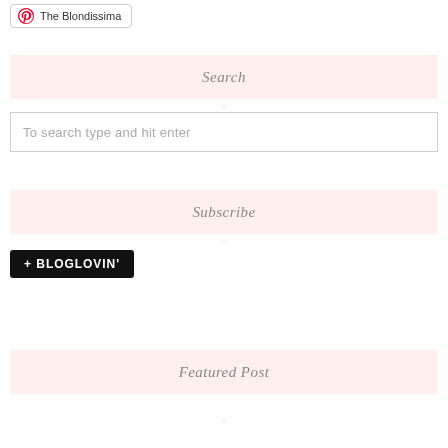[Figure (logo): Pinterest badge with red Pinterest icon and text 'The Blondissima']
Search
To search type and hit enter
Subscribe
[Figure (logo): Bloglovin black badge with '+' and 'BLOGLOVIN'' text in white on black background]
Featured Post